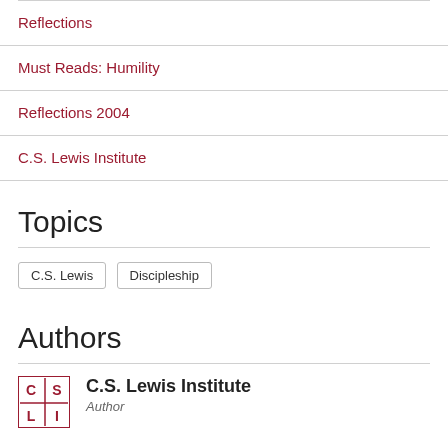Reflections
Must Reads: Humility
Reflections 2004
C.S. Lewis Institute
Topics
C.S. Lewis   Discipleship
Authors
C.S. Lewis Institute
Author